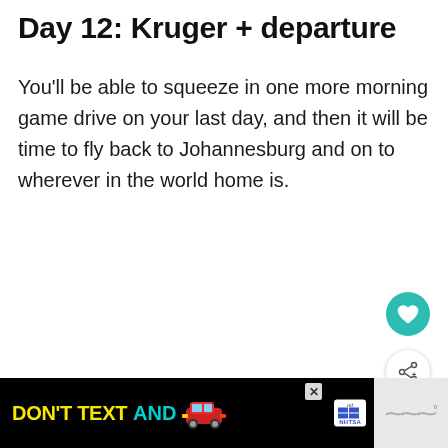Day 12: Kruger + departure
You'll be able to squeeze in one more morning game drive on your last day, and then it will be time to fly back to Johannesburg and on to wherever in the world home is.
[Figure (infographic): Teal circular heart/favorite button icon]
[Figure (infographic): White circular share/social button icon]
[Figure (infographic): What's Next card with thumbnail image showing A Perfect 10-Day Itinerary...]
[Figure (infographic): Advertisement banner: DON'T TEXT AND [car emoji] with NHTSA branding and ad badge]